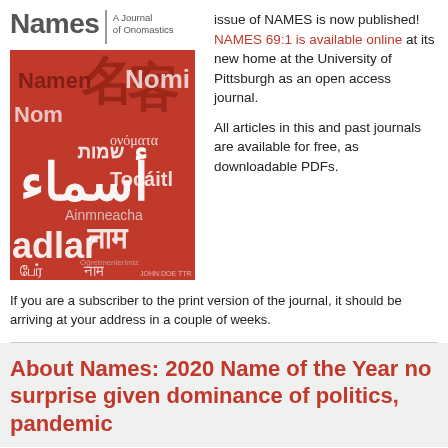Names | A Journal of Onomastics
[Figure (illustration): Red journal cover for 'Names: A Journal of Onomastics' showing the word 'names' in many different languages and scripts including Arabic, Chinese, Hebrew, Hindi, Tamil, and others on a red background.]
issue of NAMES is now published! NAMES 69:1 is available online at its new home at the University of Pittsburgh as an open access journal.

All articles in this and past journals are available for free, as downloadable PDFs.
If you are a subscriber to the print version of the journal, it should be arriving at your address in a couple of weeks.
About Names: 2020 Name of the Year no surprise given dominance of politics, pandemic